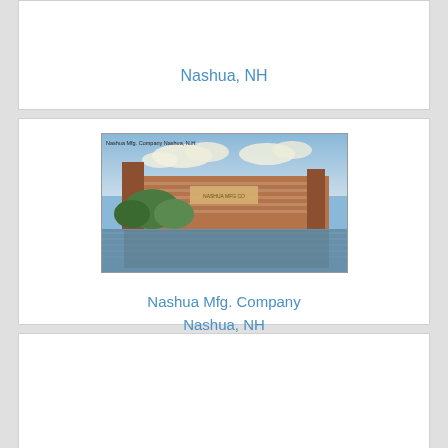Nashua, NH
[Figure (photo): Vintage postcard illustration of Nashua Mfg. Company building viewed from across a river, with trees in foreground and clouds in sky. Caption reads: Nashua Mfg. Company Nashua, N.H.]
Nashua Mfg. Company
Nashua, NH